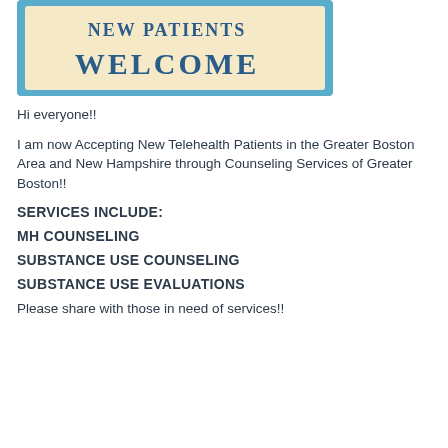[Figure (illustration): Sign with sky-blue border and cream background displaying 'NEW PATIENTS WELCOME' in large blue hand-lettered text]
Hi everyone!!
I am now Accepting New Telehealth Patients in the Greater Boston Area and New Hampshire through Counseling Services of Greater Boston!!
SERVICES INCLUDE:
MH COUNSELING
SUBSTANCE USE COUNSELING
SUBSTANCE USE EVALUATIONS
Please share with those in need of services!!